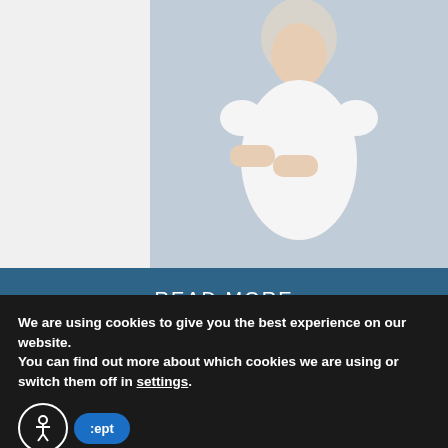[Figure (photo): Older woman with crossed arms wearing white t-shirt against grey background]
READ MORE
August 1st 2022
Should I Be Using a Tongue Scraper? | 60154 Dentist
[Figure (photo): Partial photo of dental/mouth subject at bottom of article card]
We are using cookies to give you the best experience on our website.
You can find out more about which cookies we are using or switch them off in settings.
Accept